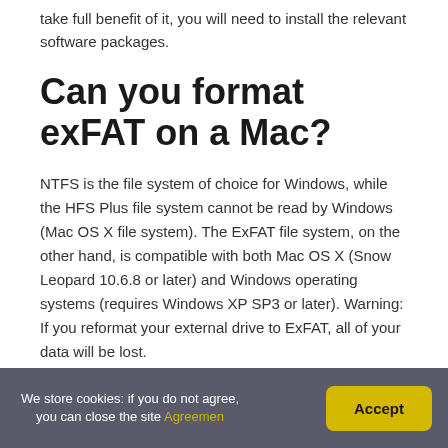take full benefit of it, you will need to install the relevant software packages.
Can you format exFAT on a Mac?
NTFS is the file system of choice for Windows, while the HFS Plus file system cannot be read by Windows (Mac OS X file system). The ExFAT file system, on the other hand, is compatible with both Mac OS X (Snow Leopard 10.6.8 or later) and Windows operating systems (requires Windows XP SP3 or later). Warning: If you reformat your external drive to ExFAT, all of your data will be lost.
We store cookies: if you do not agree, you can close the site Agreemen